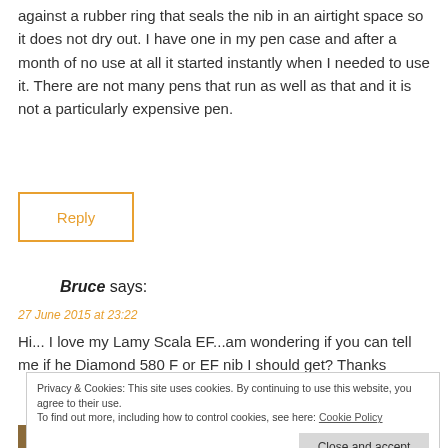against a rubber ring that seals the nib in an airtight space so it does not dry out. I have one in my pen case and after a month of no use at all it started instantly when I needed to use it. There are not many pens that run as well as that and it is not a particularly expensive pen.
Reply
Bruce says:
27 June 2015 at 23:22
Hi... I love my Lamy Scala EF...am wondering if you can tell me if he Diamond 580 F or EF nib I should get? Thanks
Privacy & Cookies: This site uses cookies. By continuing to use this website, you agree to their use. To find out more, including how to control cookies, see here: Cookie Policy
Close and accept
ian says: